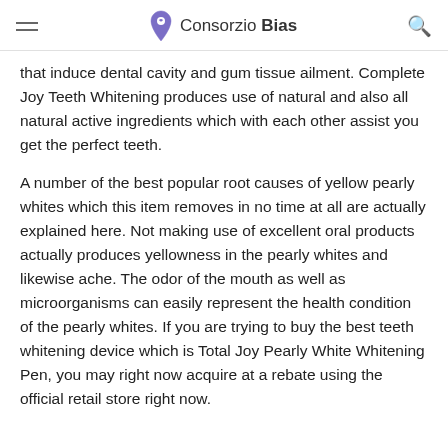Consorzio Bias
that induce dental cavity and gum tissue ailment. Complete Joy Teeth Whitening produces use of natural and also all natural active ingredients which with each other assist you get the perfect teeth.
A number of the best popular root causes of yellow pearly whites which this item removes in no time at all are actually explained here. Not making use of excellent oral products actually produces yellowness in the pearly whites and likewise ache. The odor of the mouth as well as microorganisms can easily represent the health condition of the pearly whites. If you are trying to buy the best teeth whitening device which is Total Joy Pearly White Whitening Pen, you may right now acquire at a rebate using the official retail store right now.